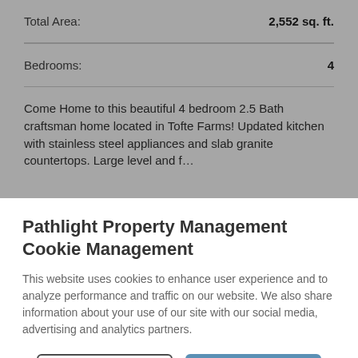| Total Area: | 2,552 sq. ft. |
| Bedrooms: | 4 |
Come Home to this beautiful 4 bedroom 2.5 Bath craftsman home located in Tofte Farms! Updated kitchen with stainless steel appliances and slab granite countertops. Large level and f…
Pathlight Property Management Cookie Management
This website uses cookies to enhance user experience and to analyze performance and traffic on our website. We also share information about your use of our site with our social media, advertising and analytics partners.
Manage Cookies | Accept Cookies